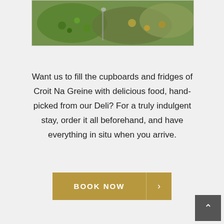[Figure (photo): Photo of bowls of food including olives and other deli items on a decorative surface]
Want us to fill the cupboards and fridges of Croit Na Greine with delicious food, hand-picked from our Deli? For a truly indulgent stay, order it all beforehand, and have everything in situ when you arrive.
BOOK NOW >